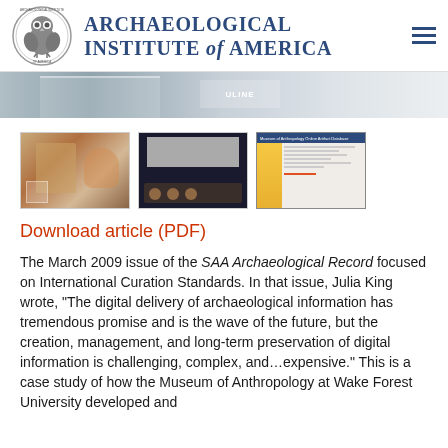Archaeological Institute of America
[Figure (photo): Banner photo showing a box on a table, partially visible]
[Figure (photo): Three thumbnail images: person examining artifact, audience at lecture, museum artifact database screenshot]
Download article (PDF)
The March 2009 issue of the SAA Archaeological Record focused on International Curation Standards. In that issue, Julia King wrote, “The digital delivery of archaeological information has tremendous promise and is the wave of the future, but the creation, management, and long-term preservation of digital information is challenging, complex, and…expensive.” This is a case study of how the Museum of Anthropology at Wake Forest University developed and